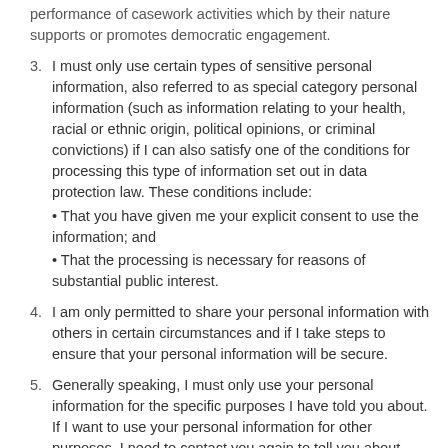performance of casework activities which by their nature supports or promotes democratic engagement.
3. I must only use certain types of sensitive personal information, also referred to as special category personal information (such as information relating to your health, racial or ethnic origin, political opinions, or criminal convictions) if I can also satisfy one of the conditions for processing this type of information set out in data protection law. These conditions include:
• That you have given me your explicit consent to use the information; and
• That the processing is necessary for reasons of substantial public interest.
4. I am only permitted to share your personal information with others in certain circumstances and if I take steps to ensure that your personal information will be secure.
5. Generally speaking, I must only use your personal information for the specific purposes I have told you about. If I want to use your personal information for other purposes, I need to contact you again to tell you about this.
6. I must not hold more personal information than I need for the purposes I have told you about and must not retain your